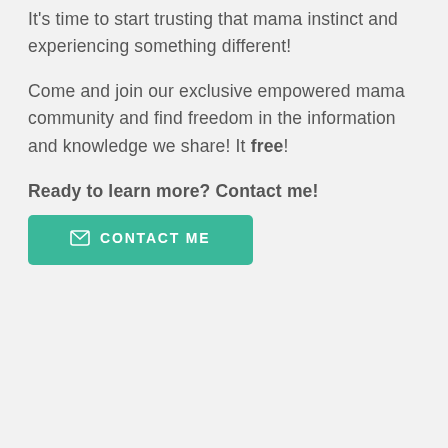It's time to start trusting that mama instinct and experiencing something different!
Come and join our exclusive empowered mama community and find freedom in the information and knowledge we share! It free!
Ready to learn more? Contact me!
[Figure (other): Green 'CONTACT ME' button with envelope icon]